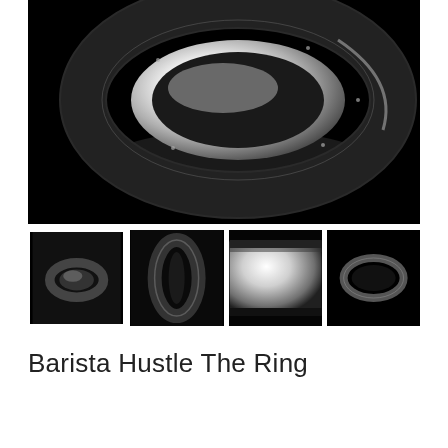[Figure (photo): Large hero image on black background showing a metallic ring (The Barista Hustle Ring) tilted at an angle, with reflective chrome inner surface and dark outer band, small screws visible around the edge.]
[Figure (photo): Thumbnail 1 (selected, with border): Small ring shown from above on dark background, selected state indicated by white border.]
[Figure (photo): Thumbnail 2: Ring shown from the side on black background, showing its profile and black outer band.]
[Figure (photo): Thumbnail 3: Close-up of ring interior showing highly polished silver chrome surface.]
[Figure (photo): Thumbnail 4: Ring from above at a distance on black background, showing circular shape.]
Barista Hustle The Ring